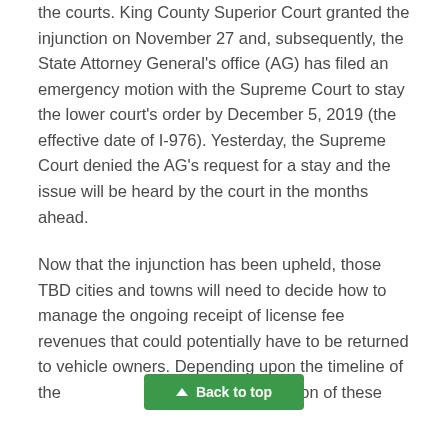the courts. King County Superior Court granted the injunction on November 27 and, subsequently, the State Attorney General's office (AG) has filed an emergency motion with the Supreme Court to stay the lower court's order by December 5, 2019 (the effective date of I-976). Yesterday, the Supreme Court denied the AG's request for a stay and the issue will be heard by the court in the months ahead.
Now that the injunction has been upheld, those TBD cities and towns will need to decide how to manage the ongoing receipt of license fee revenues that could potentially have to be returned to vehicle owners. Depending upon the timeline of the accumulation of these